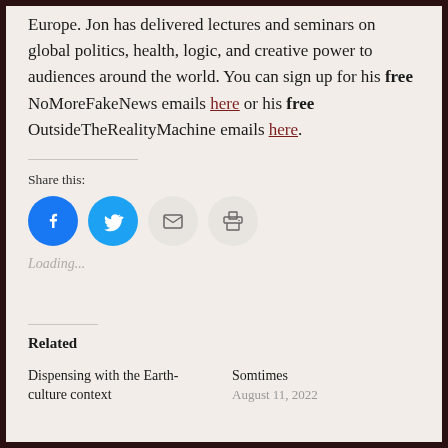Europe. Jon has delivered lectures and seminars on global politics, health, logic, and creative power to audiences around the world. You can sign up for his free NoMoreFakeNews emails here or his free OutsideTheRealityMachine emails here.
Share this:
[Figure (other): Social share buttons: Facebook (blue circle), Twitter (blue circle), Email (grey circle), Print (grey circle)]
Loading...
Related
Dispensing with the Earth-culture context
Somtimes
August 11, 2022